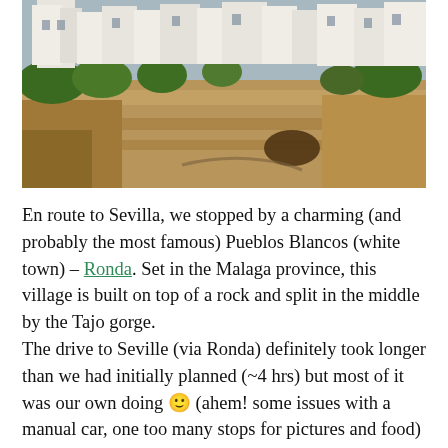[Figure (photo): Cliff-top white buildings (Pueblos Blancos) perched on rocky limestone cliffs with vegetation, Ronda, Spain]
En route to Sevilla, we stopped by a charming (and probably the most famous) Pueblos Blancos (white town) – Ronda. Set in the Malaga province, this village is built on top of a rock and split in the middle by the Tajo gorge.
The drive to Seville (via Ronda) definitely took longer than we had initially planned (~4 hrs) but most of it was our own doing 🙂 (ahem! some issues with a manual car, one too many stops for pictures and food) but the views of the olive fields, goats grazing on the